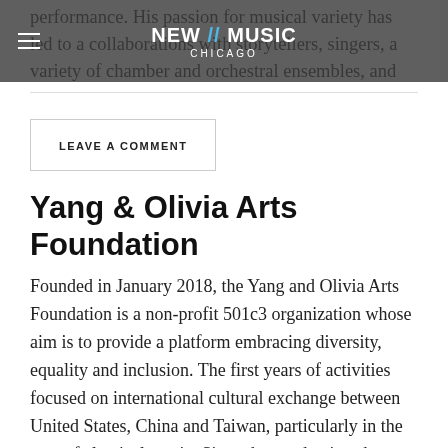NEW // MUSIC CHICAGO
performance. His passion for musical variety has led to a collaborations with storytellers, singers, a variety of chamber and orchestral ensembles, and even a soloistic […]
LEAVE A COMMENT
Yang & Olivia Arts Foundation
Founded in January 2018, the Yang and Olivia Arts Foundation is a non-profit 501c3 organization whose aim is to provide a platform embracing diversity, equality and inclusion. The first years of activities focused on international cultural exchange between United States, China and Taiwan, particularly in the area of classical music. Since the pandemics, the